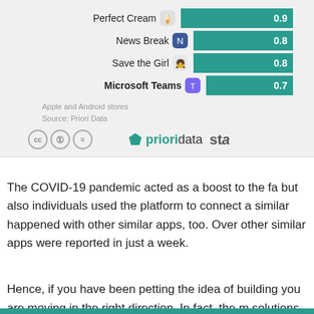[Figure (bar-chart): Top apps by downloads]
Apple and Android stores
Source: Priori Data
The COVID-19 pandemic acted as a boost to the fa but also individuals used the platform to connect a similar happened with other similar apps, too. Over other similar apps were reported in just a week.
Hence, if you have been petting the idea of building you are moving in the right direction. In fact, the m solutions is expected to touch the $50 billion mark your idea into a viable business model.